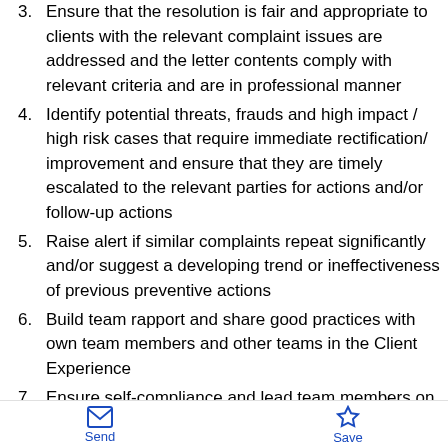3. Ensure that the resolution is fair and appropriate to clients with the relevant complaint issues are addressed and the letter contents comply with relevant criteria and are in professional manner
4. Identify potential threats, frauds and high impact / high risk cases that require immediate rectification/ improvement and ensure that they are timely escalated to the relevant parties for actions and/or follow-up actions
5. Raise alert if similar complaints repeat significantly and/or suggest a developing trend or ineffectiveness of previous preventive actions
6. Build team rapport and share good practices with own team members and other teams in the Client Experience
7. Ensure self-compliance and lead team members on compliance with internal policies and external
Send  Save